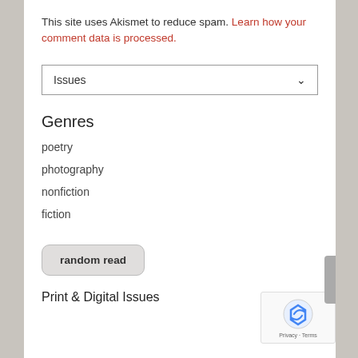This site uses Akismet to reduce spam. Learn how your comment data is processed.
Issues (dropdown)
Genres
poetry
photography
nonfiction
fiction
random read
Print & Digital Issues